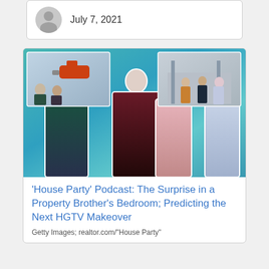July 7, 2021
[Figure (photo): Article thumbnail collage showing HGTV hosts and celebrities including a man in a tuxedo and woman in pink dress on a teal background, with inset photos of home renovation scenes and people]
‘House Party’ Podcast: The Surprise in a Property Brother’s Bedroom; Predicting the Next HGTV Makeover
Getty Images; realtor.com/“House Party”